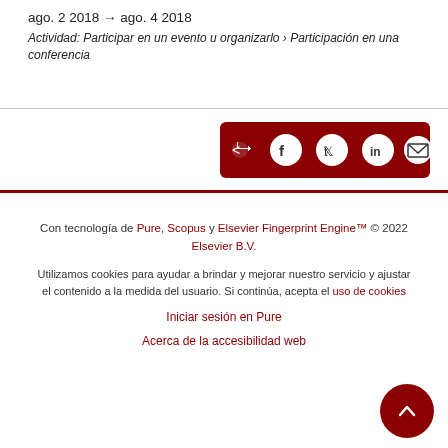ago. 2 2018 → ago. 4 2018
Actividad: Participar en un evento u organizarlo › Participación en una conferencia
[Figure (infographic): Dark red share bar with social media icons: share, Facebook, Twitter, LinkedIn, email]
Con tecnología de Pure, Scopus y Elsevier Fingerprint Engine™ © 2022 Elsevier B.V.
Utilizamos cookies para ayudar a brindar y mejorar nuestro servicio y ajustar el contenido a la medida del usuario. Si continúa, acepta el uso de cookies
Iniciar sesión en Pure
Acerca de la accesibilidad web